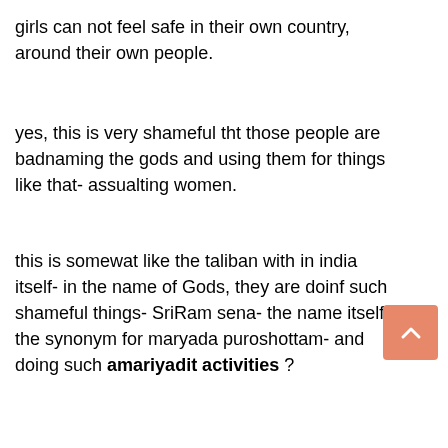girls can not feel safe in their own country, around their own people.
yes, this is very shameful tht those people are badnaming the gods and using them for things like that- assualting women.
this is somewat like the taliban with in india itself- in the name of Gods, they are doinf such shameful things- SriRam sena- the name itself the synonym for maryada puroshottam- and doing such amariyadit activities ?
yeah u raised a vy valid point that how come in a secular state of india such religious parties get recognised?
i heard it on tv tht the govt of karnatka is thinking to disrecognise this party.